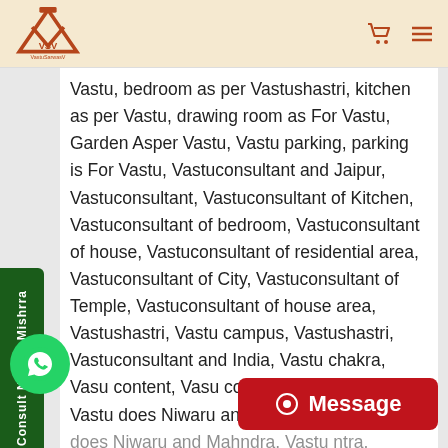VastuSarwasV
Vastu, bedroom as per Vastushastri, kitchen as per Vastu, drawing room as For Vastu, Garden Asper Vastu, Vastu parking, parking is For Vastu, Vastuconsultant and Jaipur, Vastuconsultant, Vastuconsultant of Kitchen, Vastuconsultant of bedroom, Vastuconsultant of house, Vastuconsultant of residential area, Vastuconsultant of City, Vastuconsultant of Temple, Vastuconsultant of house area, Vastushastri, Vastu campus, Vastushastri, Vastuconsultant and India, Vastu chakra, Vasu content, Vasu connect, Vasu direction, Vastu does Niwaru and Mantri, Vastu does es does Niwaru and Mahndra, Vastu ntra, Vasudeva, Vastu Da Vastu delta mantra they've d